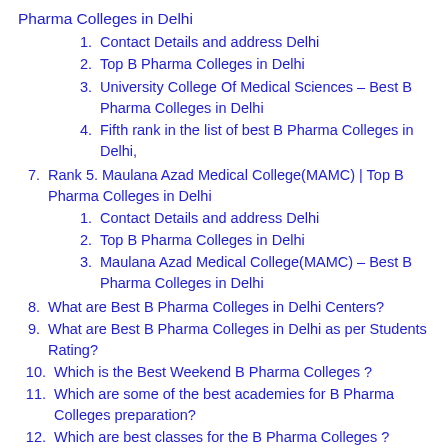Pharma Colleges in Delhi
1. Contact Details and address Delhi
2. Top B Pharma Colleges in Delhi
3. University College Of Medical Sciences – Best B Pharma Colleges in Delhi
4. Fifth rank in the list of best B Pharma Colleges in Delhi,
7. Rank 5. Maulana Azad Medical College(MAMC) | Top B Pharma Colleges in Delhi
1. Contact Details and address Delhi
2. Top B Pharma Colleges in Delhi
3. Maulana Azad Medical College(MAMC) – Best B Pharma Colleges in Delhi
8. What are Best B Pharma Colleges in Delhi Centers?
9. What are Best B Pharma Colleges in Delhi as per Students Rating?
10. Which is the Best Weekend B Pharma Colleges ?
11. Which are some of the best academies for B Pharma Colleges preparation?
12. Which are best classes for the B Pharma Colleges ?